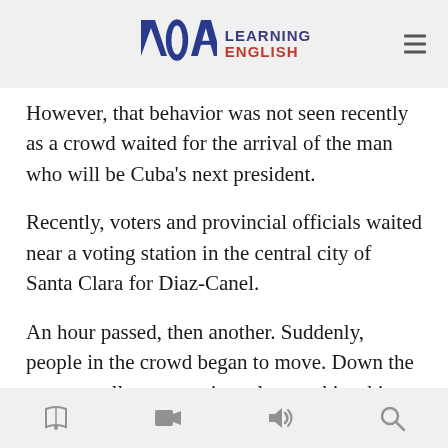VOA Learning English
However, that behavior was not seen recently as a crowd waited for the arrival of the man who will be Cuba's next president.
Recently, voters and provincial officials waited near a voting station in the central city of Santa Clara for Diaz-Canel.
An hour passed, then another. Suddenly, people in the crowd began to move. Down the street, a tall man wearing a loose white shirt walked with his wife and a few bodyguards toward the voting station. Shaking hands and showing ease with voters, Diaz-Canel took